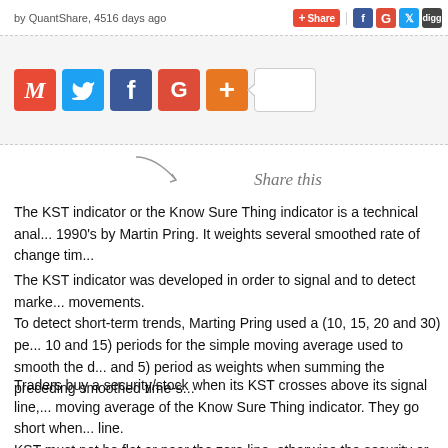by QuantShare, 4516 days ago
[Figure (infographic): Social share bar with icons for Gmail (M), Twitter, Facebook, Google+, and a plus button, with a count box]
Share this
The KST indicator or the Know Sure Thing indicator is a technical analysis indicator developed in the early 1990's by Martin Pring. It weights several smoothed rate of change time-series together.
The KST indicator was developed in order to signal and to detect market turning points and cyclical movements.
To detect short-term trends, Marting Pring used a (10, 15, 20 and 30) period rate of change (ROC) and (10 and 15) periods for the simple moving average used to smooth the data, and he used (1, 2, 3 and 5) period as weights when summing the preceding smoothed time-series.
Traders buy a security/stock when its KST crosses above its signal line, which is simply a simple moving average of the Know Sure Thing indicator. They go short when its KST falls below its signal line.
KST must not be flat or near the zero line, otherwise the security or stock signals generated by the KST are unreliable.